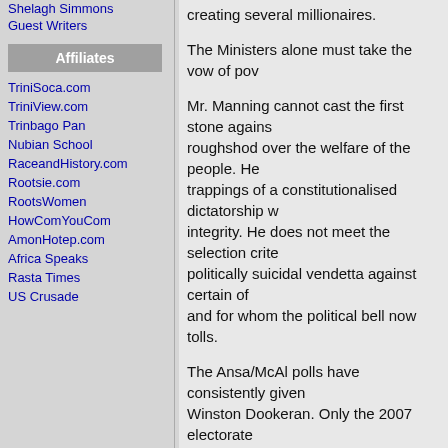Shelagh Simmons
Guest Writers
Affiliates
TriniSoca.com
TriniView.com
Trinbago Pan
Nubian School
RaceandHistory.com
Rootsie.com
RootsWomen
HowComYouCom
AmonHotep.com
Africa Speaks
Rasta Times
US Crusade
creating several millionaires.
The Ministers alone must take the vow of pow...
Mr. Manning cannot cast the first stone agains... roughshod over the welfare of the people. He... trappings of a constitutionalised dictatorship w... integrity. He does not meet the selection crite... politically suicidal vendetta against certain of... and for whom the political bell now tolls.
The Ansa/McAl polls have consistently given... Winston Dookeran. Only the 2007 electorate... and gone into oblivion.
The essence of any objective performance ev... The assessed must see the assessment crite... defend himself according to the rules of natur...
Does the Education Minister meet the criteria... disaster at that Ministry with 17 schools still c... Council aware of the poll and did it sanction th... and established scientific methodology for the...
Share your views here...
Send page by E-Mail